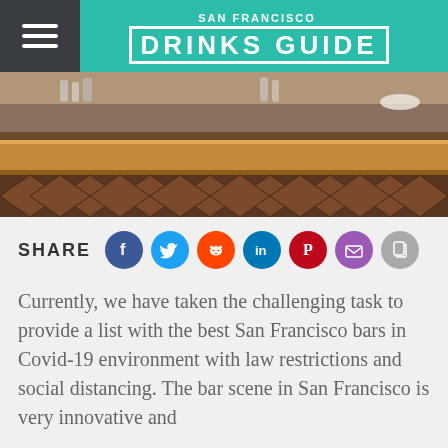SAN FRANCISCO DRINKS GUIDE
[Figure (photo): Interior bar photo showing a wooden bar counter with geometric wood panel detail below, bottles and dishware visible on shelving in background]
SHARE
[Figure (infographic): Social share icons row: Facebook (blue), Twitter (light blue), Reddit (orange), LinkedIn (teal), Pinterest (red), Email (purple), Copy link (gray)]
Currently, we have taken the challenging task to provide a list with the best San Francisco bars in Covid-19 environment with law restrictions and social distancing. The bar scene in San Francisco is very innovative and